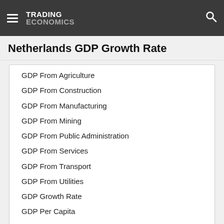TRADING ECONOMICS
Netherlands GDP Growth Rate
GDP From Agriculture
GDP From Construction
GDP From Manufacturing
GDP From Mining
GDP From Public Administration
GDP From Services
GDP From Transport
GDP From Utilities
GDP Growth Rate
GDP Per Capita
GDP Per Capita PPP
Gross Fixed Capital Formation
Gross National Product
Labour